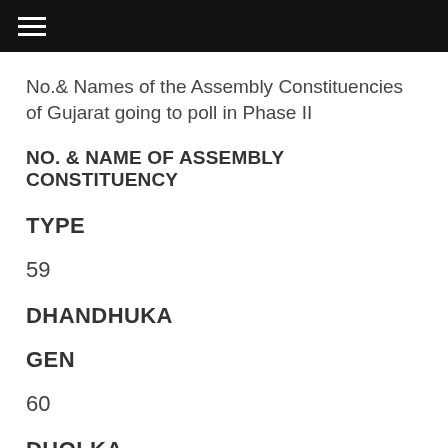≡
No.& Names of the Assembly Constituencies of Gujarat going to poll in Phase II
NO. & NAME OF ASSEMBLY CONSTITUENCY
TYPE
59
DHANDHUKA
GEN
60
DHOLKA